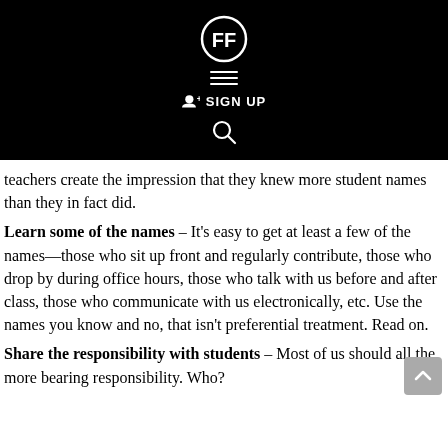[Figure (screenshot): Black navigation header bar with a logo icon (FF in circle), hamburger menu lines, SIGN UP button with person icon, and a search icon]
teachers create the impression that they knew more student names than they in fact did.
Learn some of the names – It's easy to get at least a few of the names—those who sit up front and regularly contribute, those who drop by during office hours, those who talk with us before and after class, those who communicate with us electronically, etc. Use the names you know and no, that isn't preferential treatment. Read on.
Share the responsibility with students – Most of us should all the more bearing responsibility. Who?